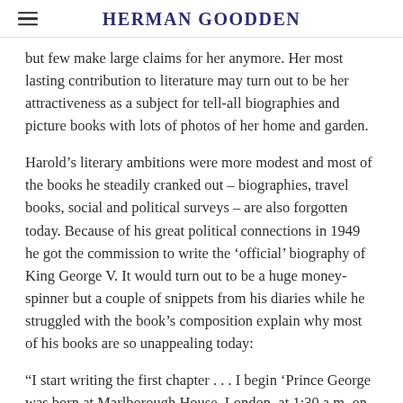HERMAN GOODDEN
but few make large claims for her anymore. Her most lasting contribution to literature may turn out to be her attractiveness as a subject for tell-all biographies and picture books with lots of photos of her home and garden.
Harold's literary ambitions were more modest and most of the books he steadily cranked out – biographies, travel books, social and political surveys – are also forgotten today. Because of his great political connections in 1949 he got the commission to write the 'official' biography of King George V. It would turn out to be a huge money-spinner but a couple of snippets from his diaries while he struggled with the book's composition explain why most of his books are so unappealing today:
“I start writing the first chapter . . . I begin ‘Prince George was born at Marlborough House, London, at 1:30 a.m. on the morning of June 3, 1865.’ I gaze at the sentence in